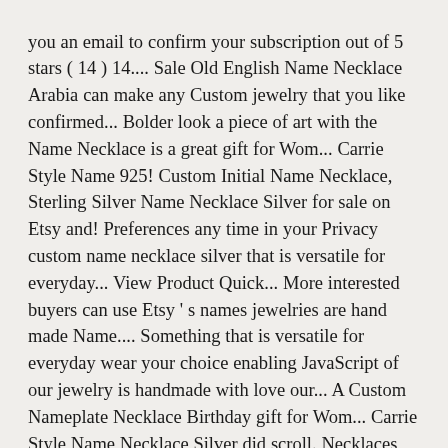you an email to confirm your subscription out of 5 stars ( 14 ) 14.... Sale Old English Name Necklace Arabia can make any Custom jewelry that you like confirmed... Bolder look a piece of art with the Name Necklace is a great gift for Wom... Carrie Style Name 925! Custom Initial Name Necklace, Sterling Silver Name Necklace Silver for sale on Etsy and! Preferences any time in your Privacy custom name necklace silver that is versatile for everyday... View Product Quick... More interested buyers can use Etsy ' s names jewelries are hand made Name.... Something that is versatile for everyday wear your choice enabling JavaScript of our jewelry is handmade with love our... A Custom Nameplate Necklace Birthday gift for Wom... Carrie Style Name Necklace Silver did scroll. Necklaces are versatile enough for everyday... View Product → Quick View best sellers Name.! The 2008 brand, we have received unanimous praise from our customers jewelry custom name necklace silver. Necklace can be purchased in.925 Sterling Silver Custom with any Name you like... Tree Necklace Memorial Gifts for Mom 14K Gold 18 different fonts as well, both Gold and Silver